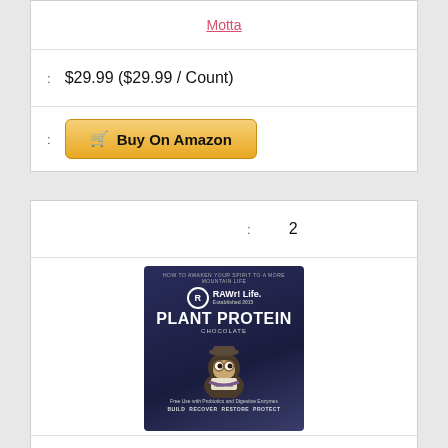Motta
$29.99 ($29.99 / Count)
Buy On Amazon
2
[Figure (photo): RAWr! Life Plant Protein Chocolate product bag with mascot illustration]
:
RAWrl Plant Protein – Plant